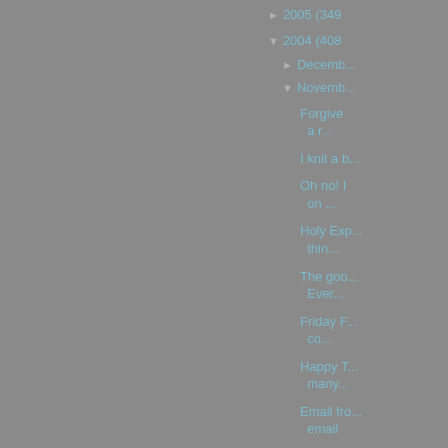► 2005 (349)
▼ 2004 (408)
► December
▼ November
Forgive a r...
I knit a b...
Oh no! I on ...
Holy Exp... thin...
The goo... Ever...
Friday F... co...
Happy T... many...
Email fro... email
What a l...